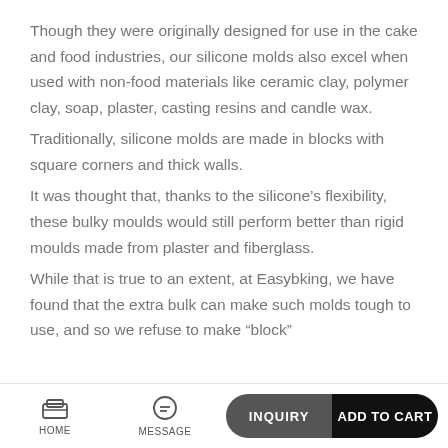Though they were originally designed for use in the cake and food industries, our silicone molds also excel when used with non-food materials like ceramic clay, polymer clay, soap, plaster, casting resins and candle wax.
Traditionally, silicone molds are made in blocks with square corners and thick walls.
It was thought that, thanks to the silicone's flexibility, these bulky moulds would still perform better than rigid moulds made from plaster and fiberglass.
While that is true to an extent, at Easybking, we have found that the extra bulk can make such molds tough to use, and so we refuse to make “block”
HOME    MESSAGE    INQUIRY    ADD TO CART